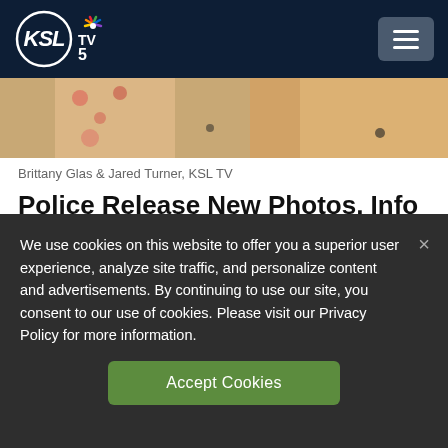KSL TV 5
[Figure (photo): Partial photo of a woman with blonde hair wearing floral clothing, cropped at the top of the page]
Brittany Glas & Jared Turner, KSL TV
Police Release New Photos, Info In Mackenzie Lueck Murder Case
We use cookies on this website to offer you a superior user experience, analyze site traffic, and personalize content and advertisements. By continuing to use our site, you consent to our use of cookies. Please visit our Privacy Policy for more information.